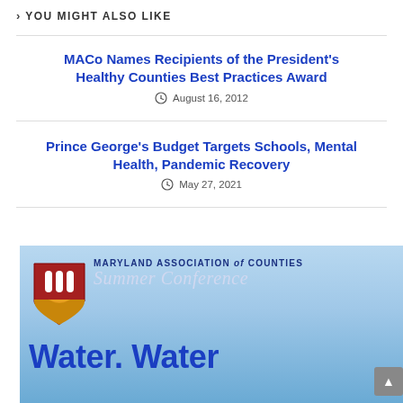YOU MIGHT ALSO LIKE
MACo Names Recipients of the President's Healthy Counties Best Practices Award
August 16, 2012
Prince George's Budget Targets Schools, Mental Health, Pandemic Recovery
May 27, 2021
[Figure (photo): Maryland Association of Counties Summer Conference banner with shield logo and 'Water. Water' text]